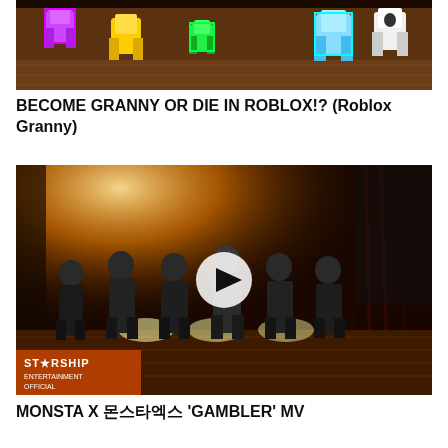[Figure (screenshot): Roblox game screenshot showing blocky cartoon characters on a wooden floor background]
BECOME GRANNY OR DIE IN ROBLOX!? (Roblox Granny)
[Figure (screenshot): Music video thumbnail showing group of men in formal attire on a stage with warm dramatic lighting, Starship Entertainment Official logo in corner, with play button overlay]
MONSTA X 몬스타엑스 'GAMBLER' MV